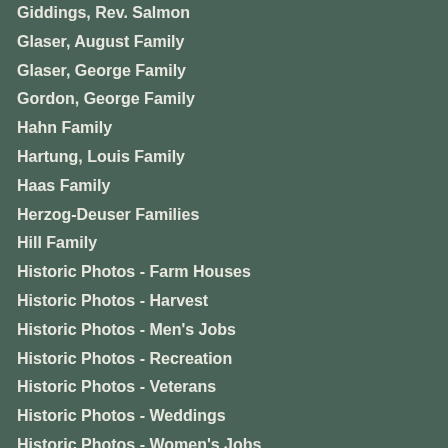Giddings, Rev. Salmon
Glaser, August Family
Glaser, George Family
Gordon, George Family
Hahn Family
Hartung, Louis Family
Haas Family
Herzog-Deuser Families
Hill Family
Historic Photos - Farm Houses
Historic Photos - Harvest
Historic Photos - Men's Jobs
Historic Photos - Recreation
Historic Photos - Veterans
Historic Photos - Weddings
Historic Photos - Women's Jobs